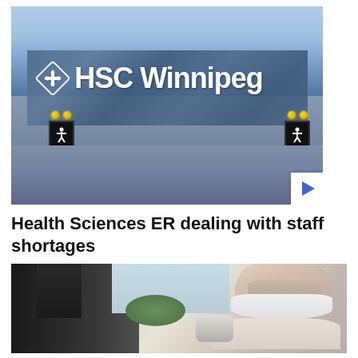[Figure (photo): Exterior photo of HSC Winnipeg (Health Sciences Centre) building showing large glass facade with HSC Winnipeg logo and signage, pedestrian crossing signals with amber lights, and a video play button overlay in the bottom-right corner.]
Health Sciences ER dealing with staff shortages
[Figure (photo): Photo of a person wearing a white face mask looking through a microscope in a laboratory setting, with windows and greenery visible in the background.]